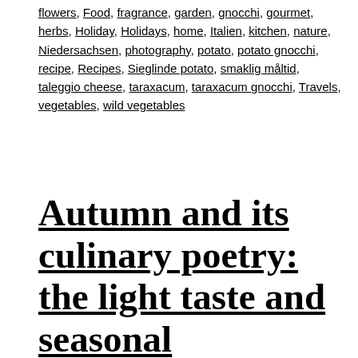flowers, Food, fragrance, garden, gnocchi, gourmet, herbs, Holiday, Holidays, home, Italien, kitchen, nature, Niedersachsen, photography, potato, potato gnocchi, recipe, Recipes, Sieglinde potato, smaklig måltid, taleggio cheese, taraxacum, taraxacum gnocchi, Travels, vegetables, wild vegetables
Autumn and its culinary poetry: the light taste and seasonal ingredients for a homemade lasagna